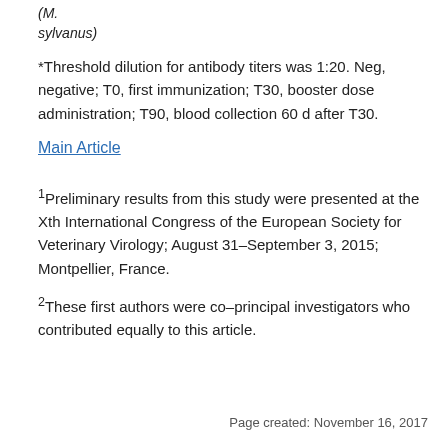(M. sylvanus)
*Threshold dilution for antibody titers was 1:20. Neg, negative; T0, first immunization; T30, booster dose administration; T90, blood collection 60 d after T30.
Main Article
1Preliminary results from this study were presented at the Xth International Congress of the European Society for Veterinary Virology; August 31–September 3, 2015; Montpellier, France.
2These first authors were co–principal investigators who contributed equally to this article.
Page created: November 16, 2017